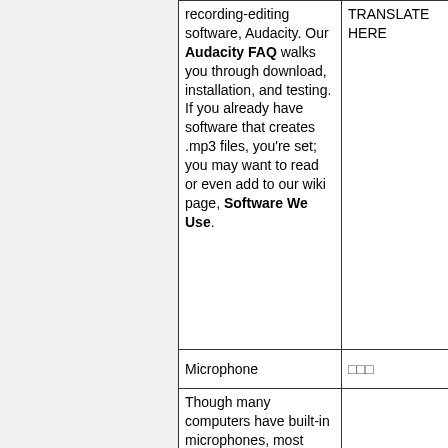| Content | Translation |
| --- | --- |
| recording-editing software, Audacity. Our Audacity FAQ walks you through download, installation, and testing. If you already have software that creates .mp3 files, you're set; you may want to read or even add to our wiki page, Software We Use. | TRANSLATE HERE |
| Microphone | □□□ |
| Though many computers have built-in microphones, most volunteers find them inadequate. Try yours on short texts (poems, short stories, prime numbers, etc.) if you want to |  |